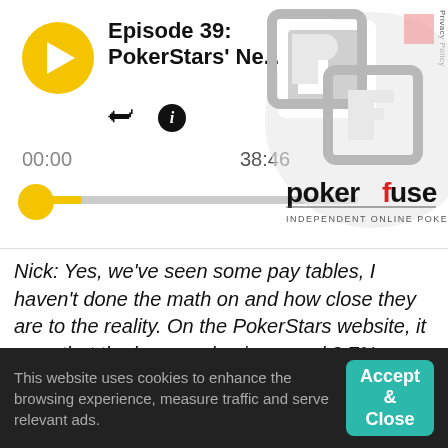[Figure (screenshot): Podcast player UI with yellow play button, episode title 'Episode 39: PokerStars' Ne...', share and info icons, timestamps 00:00 and 38:46, yellow progress bar/thumb, and Pokerfuse logo]
Nick: Yes, we've seen some pay tables, I haven't done the math on and how close they are to the reality. On the PokerStars website, it says that the house edge is around 2.7%, which is basically exactly what Europeans single zero roulette, I think the house edge there is 2.72% maybe. The paytable here is you can bet 42 to one that you'll get dealt a
This website uses cookies to enhance the browsing experience, measure traffic and serve relevant ads.
Accept & Close